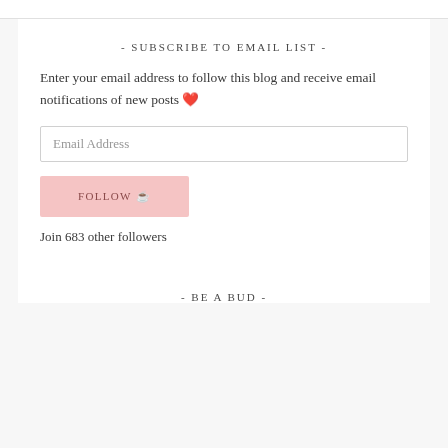- SUBSCRIBE TO EMAIL LIST -
Enter your email address to follow this blog and receive email notifications of new posts ❤️
Email Address
FOLLOW ☕
Join 683 other followers
- BE A BUD -